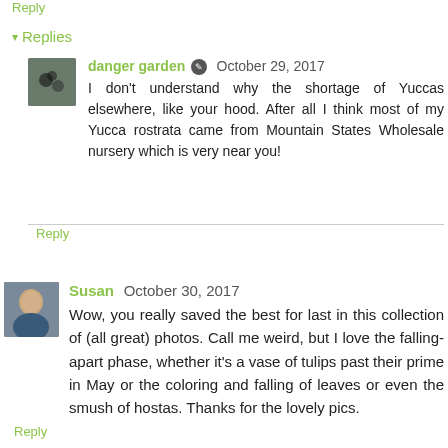Reply
▾ Replies
danger garden  October 29, 2017
I don't understand why the shortage of Yuccas elsewhere, like your hood. After all I think most of my Yucca rostrata came from Mountain States Wholesale nursery which is very near you!
Reply
Susan  October 30, 2017
Wow, you really saved the best for last in this collection of (all great) photos. Call me weird, but I love the falling-apart phase, whether it's a vase of tulips past their prime in May or the coloring and falling of leaves or even the smush of hostas. Thanks for the lovely pics.
Reply